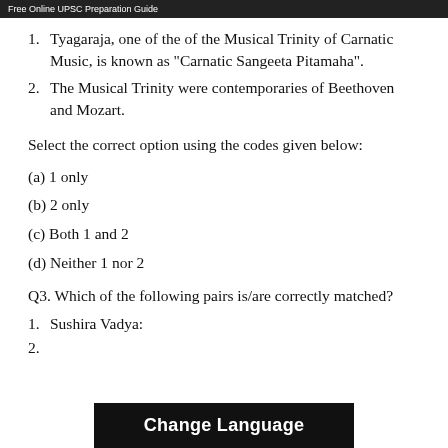Free Online UPSC Preparation Guide
Tyagaraja, one of the of the Musical Trinity of Carnatic Music, is known as "Carnatic Sangeeta Pitamaha".
The Musical Trinity were contemporaries of Beethoven and Mozart.
Select the correct option using the codes given below:
(a) 1 only
(b) 2 only
(c) Both 1 and 2
(d) Neither 1 nor 2
Q3. Which of the following pairs is/are correctly matched?
1. Sushira Vadya: W
2. ...